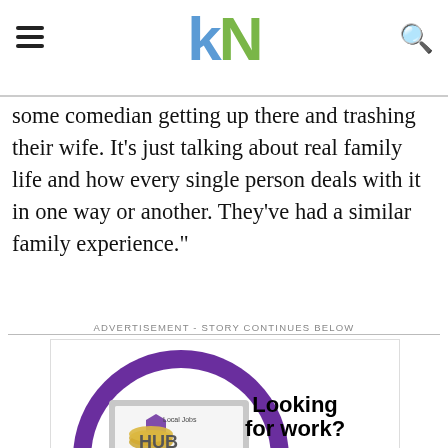kN logo with hamburger menu and search icon
some comedian getting up there and trashing their wife. It’s just talking about real family life and how every single person deals with it in one way or another. They’ve had a similar family experience.”
ADVERTISEMENT - STORY CONTINUES BELOW
[Figure (infographic): Local Jobs HUB advertisement showing laptop with HUB logo inside purple circle. Text: Looking for work? Check out the Local Jobs Hub! www.wdb.ca/jobs. A la recherche d’un emploi? Consultez le Local Jobs Hub!]
Sign up for our weekly VIP enews to keep in the KNow and for exclusive giveaways!
Your email address..
SUBSCRIBE